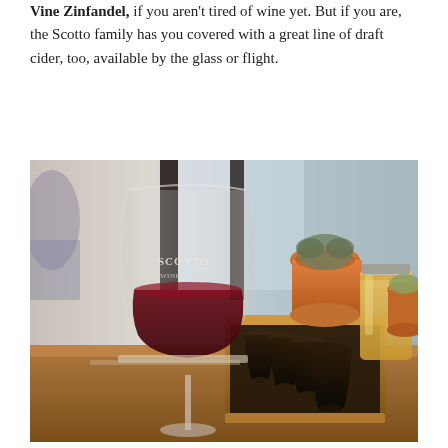Vine Zinfandel, if you aren't tired of wine yet. But if you are, the Scotto family has you covered with a great line of draft cider, too, available by the glass or flight.
[Figure (photo): Photo of a Scotto Wine & Cider branded wine glass filled with red wine on a wooden table, alongside a flight board with small tasting glasses filled with dark cider, and a mason jar with golden cider in the background, with terracotta plant pots visible.]